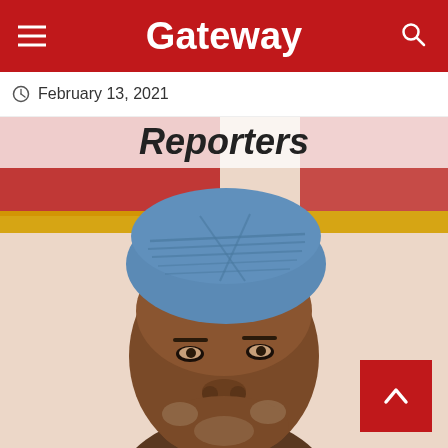Gateway
February 13, 2021
Reporters
[Figure (photo): Close-up portrait photograph of a man wearing a blue traditional Nigerian kufi cap, set against a red and yellow patterned background.]